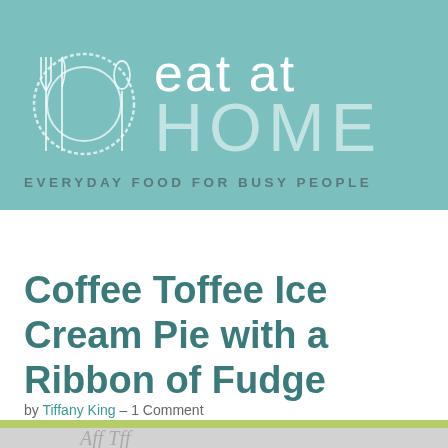[Figure (logo): Eat at Home logo with plate, fork, knife and spoon icon on teal background, text reads 'eat at HOME' with tagline 'EVERYDAY FOOD FOR BUSY PEOPLE']
≡
Coffee Toffee Ice Cream Pie with a Ribbon of Fudge
by Tiffany King – 1 Comment
[Figure (photo): Partial view of a food photo at the bottom of the page, appears to show cursive text or decorative elements in light gray]